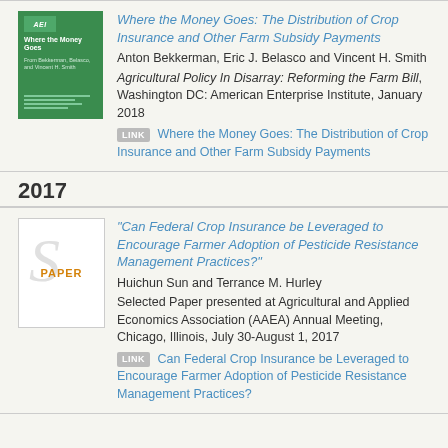[Figure (illustration): Green book cover for 'Where the Money Goes' with AEI logo]
Where the Money Goes: The Distribution of Crop Insurance and Other Farm Subsidy Payments
Anton Bekkerman, Eric J. Belasco and Vincent H. Smith
Agricultural Policy In Disarray: Reforming the Farm Bill, Washington DC: American Enterprise Institute, January 2018
LINK Where the Money Goes: The Distribution of Crop Insurance and Other Farm Subsidy Payments
2017
[Figure (illustration): White paper placeholder thumbnail with large italic S and PAPER label in orange]
"Can Federal Crop Insurance be Leveraged to Encourage Farmer Adoption of Pesticide Resistance Management Practices?"
Huichun Sun and Terrance M. Hurley
Selected Paper presented at Agricultural and Applied Economics Association (AAEA) Annual Meeting, Chicago, Illinois, July 30-August 1, 2017
LINK Can Federal Crop Insurance be Leveraged to Encourage Farmer Adoption of Pesticide Resistance Management Practices?